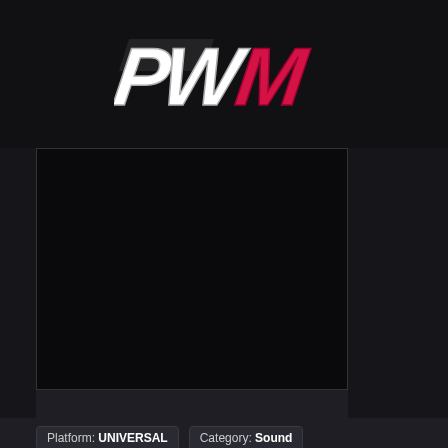[Figure (logo): PWM logo in stylized italic bold lettering, white/silver 'P', 'W' characters and red/crimson 'M' character on dark background]
[Figure (screenshot): Black/empty video player embedded content area with thin grey border]
Platform: UNIVERSAL   Category: Sound
263
We use cookies to enhance your experience. By continuing to visit this site you agree to our use of cookies. More info